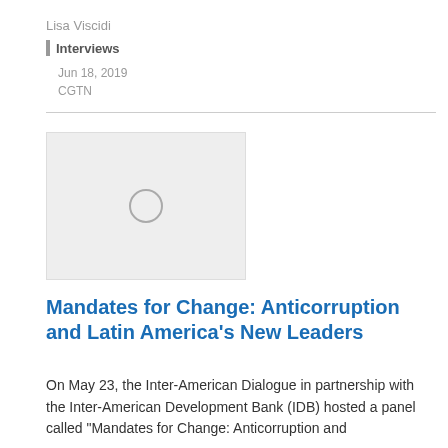Lisa Viscidi
Interviews
Jun 18, 2019
CGTN
[Figure (other): Video thumbnail placeholder with a circular play button icon on a light grey background]
Mandates for Change: Anticorruption and Latin America's New Leaders
On May 23, the Inter-American Dialogue in partnership with the Inter-American Development Bank (IDB) hosted a panel called “Mandates for Change: Anticorruption and